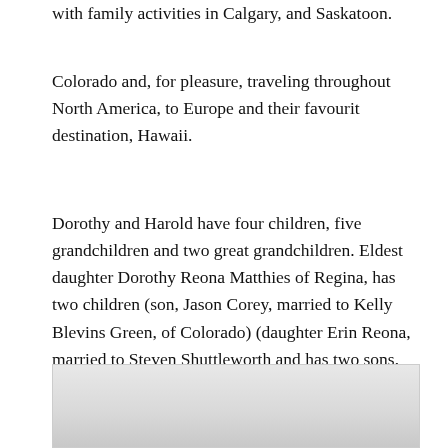with family activities in Calgary, and Saskatoon.
Colorado and, for pleasure, traveling throughout North America, to Europe and their favourit destination, Hawaii.
Dorothy and Harold have four children, five grandchildren and two great grandchildren. Eldest daughter Dorothy Reona Matthies of Regina, has two children (son, Jason Corey, married to Kelly Blevins Green, of Colorado) (daughter Erin Reona, married to Steven Shuttleworth and has two sons, Matthew Jason and Garrett Andrew, also of Colorado).
[Figure (photo): Partially visible photograph at the bottom of the page, appears light/washed out]